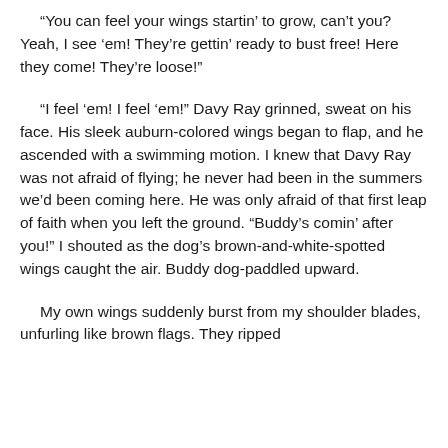“You can feel your wings startin’ to grow, can’t you? Yeah, I see ‘em! They’re gettin’ ready to bust free! Here they come! They’re loose!”
“I feel ‘em! I feel ‘em!” Davy Ray grinned, sweat on his face. His sleek auburn-colored wings began to flap, and he ascended with a swimming motion. I knew that Davy Ray was not afraid of flying; he never had been in the summers we’d been coming here. He was only afraid of that first leap of faith when you left the ground. “Buddy’s comin’ after you!” I shouted as the dog’s brown-and-white-spotted wings caught the air. Buddy dog-paddled upward.
My own wings suddenly burst from my shoulder blades, unfurling like brown flags. They ripped